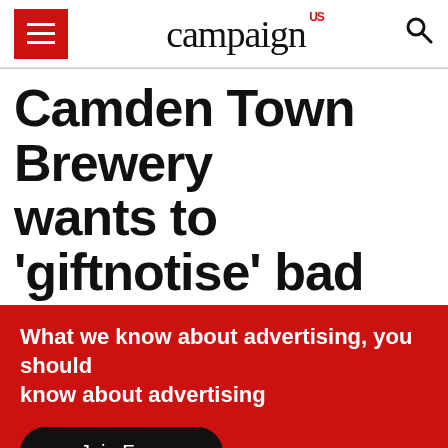campaign US
Camden Town Brewery wants to 'giftnotise' bad
What we know about advertising, you should know about advertising
Join Free
Welcome to campaignlive.com. This site uses Cookies to provide you with the best possible experience. To learn more please view our Cookie Notice.
The brewery's first Christmas advert was created by Wieden+Kennedy London
Close